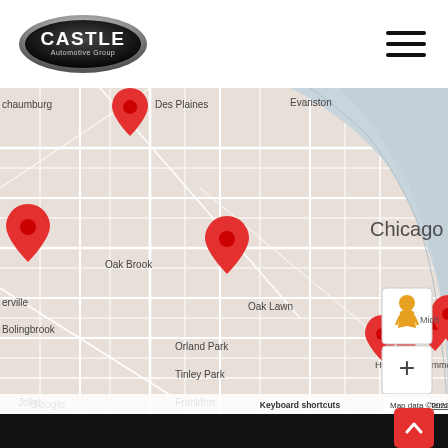[Figure (logo): Castle Automotive Group logo — black oval with chrome border and white text]
[Figure (map): Google Maps view of Chicago metro area showing multiple red location pins for Castle Automotive Group dealerships in Schaumburg, Des Plaines area, Oak Brook area, near Gary/Indiana, and Merrillville/Valparaiso area. Map controls include street view person icon, zoom + and - buttons. Map labels include Chicago, Oak Brook, Bolingbrook, Orland Park, Tinley Park, Joliet, Frankfort, Oak Lawn, Hammond, Gary, Merrillville, Valparaiso, Evanston, Des Plaines. Footer shows Google branding, Keyboard shortcuts, Map data ©2022 Google, Terms of Use.]